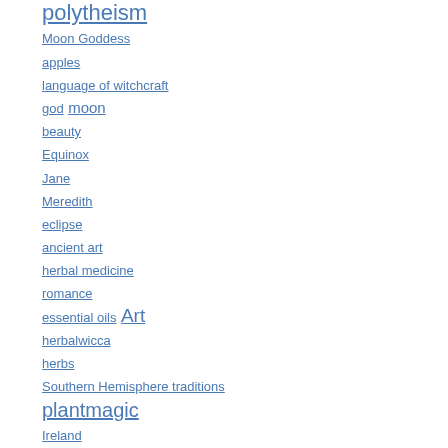polytheism
Moon Goddess
apples
language of witchcraft
god moon
beauty
Equinox
Jane
Meredith
eclipse
ancient art
herbal medicine
romance
essential oils Art
herbalwicca
herbs
Southern Hemisphere traditions
plantmagic
Ireland
woodspriest
Sparky T.
Rabbit Bull
Stone
Feminism
devotion
theology
pagan
humor
goddess art
Reclaiming
writing and publishing